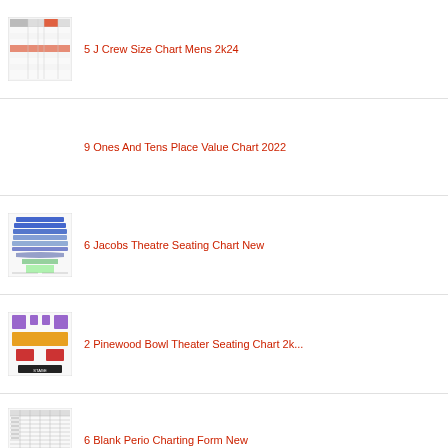5 J Crew Size Chart Mens 2k24
9 Ones And Tens Place Value Chart 2022
6 Jacobs Theatre Seating Chart New
2 Pinewood Bowl Theater Seating Chart 2k...
6 Blank Perio Charting Form New